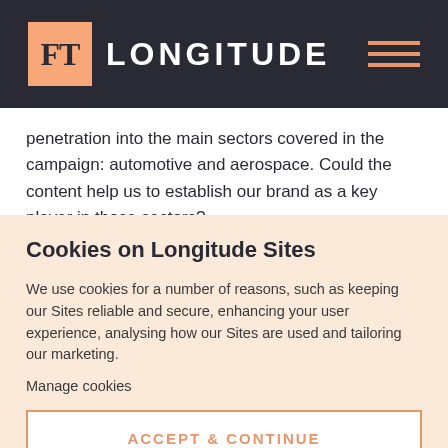FT LONGITUDE
penetration into the main sectors covered in the campaign: automotive and aerospace. Could the content help us to establish our brand as a key player in those sectors?
Cookies on Longitude Sites
We use cookies for a number of reasons, such as keeping our Sites reliable and secure, enhancing your user experience, analysing how our Sites are used and tailoring our marketing.
Manage cookies
ACCEPT & CONTINUE